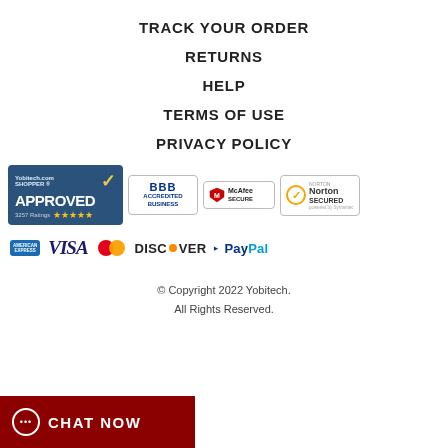TRACK YOUR ORDER
RETURNS
HELP
TERMS OF USE
PRIVACY POLICY
[Figure (logo): Yobitech.com Shopper Approved badge with 3257 ratings and 5 stars, BBB Accredited Business badge, McAfee Secure badge, Norton Secured powered by Symantec badge]
[Figure (logo): Payment method icons: American Express, Visa, Mastercard, Discover, PayPal]
© Copyright 2022 Yobitech.
All Rights Reserved.
CHAT NOW